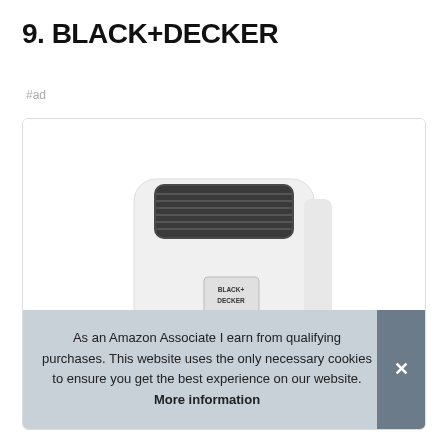9. BLACK+DECKER
#ad
[Figure (photo): A white BLACK+DECKER portable air conditioner unit with dark ventilation grilles on top and the BLACK+DECKER logo badge on the front body.]
As an Amazon Associate I earn from qualifying purchases. This website uses the only necessary cookies to ensure you get the best experience on our website. More information